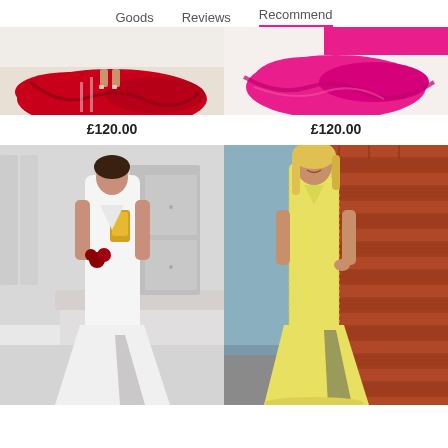Goods   Reviews   Recommend
[Figure (photo): Product photo: woman in red dress (cropped, top portion visible)]
[Figure (photo): Product photo: woman in hot pink/magenta dress (cropped, top portion visible)]
£120.00
£120.00
[Figure (photo): Woman in white mermaid/halter gown with slit, holding red roses, taking mirror selfie in bedroom]
[Figure (photo): Woman in yellow lace mermaid gown with slit, standing by brick wall outdoors]